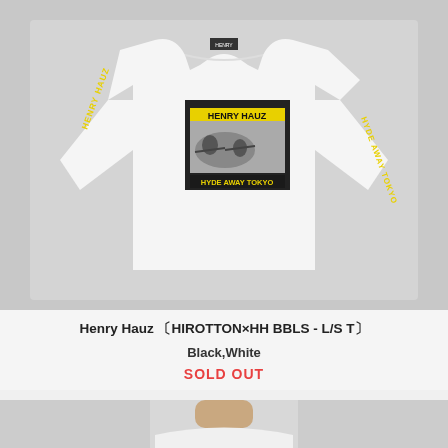[Figure (photo): White long-sleeve t-shirt with Henry Hauz / Hyde Away Tokyo graphic on chest and sleeve text, laid flat on light grey surface]
Henry Hauz 〔HIROTTON×HH BBLS - L/S T〕
Black,White
SOLD OUT
[Figure (photo): Bottom portion of a person wearing a white long-sleeve t-shirt, showing collar and shoulders area]